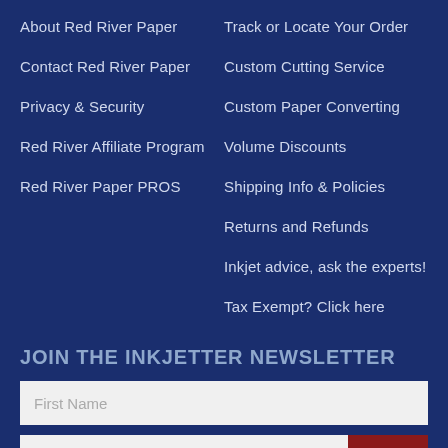About Red River Paper
Contact Red River Paper
Privacy & Security
Red River Affiliate Program
Red River Paper PROS
Track or Locate Your Order
Custom Cutting Service
Custom Paper Converting
Volume Discounts
Shipping Info & Policies
Returns and Refunds
Inkjet advice, ask the experts!
Tax Exempt? Click here
JOIN THE INKJETTER NEWSLETTER
First Name
Email address
JOIN